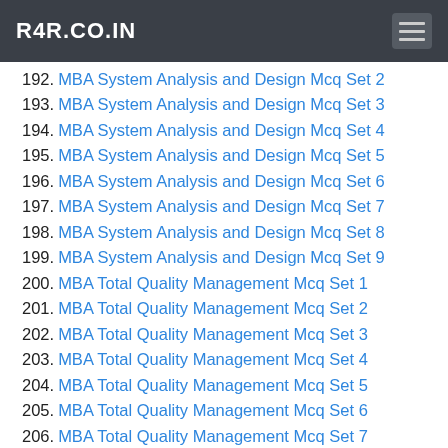R4R.CO.IN
192. MBA System Analysis and Design Mcq Set 2
193. MBA System Analysis and Design Mcq Set 3
194. MBA System Analysis and Design Mcq Set 4
195. MBA System Analysis and Design Mcq Set 5
196. MBA System Analysis and Design Mcq Set 6
197. MBA System Analysis and Design Mcq Set 7
198. MBA System Analysis and Design Mcq Set 8
199. MBA System Analysis and Design Mcq Set 9
200. MBA Total Quality Management Mcq Set 1
201. MBA Total Quality Management Mcq Set 2
202. MBA Total Quality Management Mcq Set 3
203. MBA Total Quality Management Mcq Set 4
204. MBA Total Quality Management Mcq Set 5
205. MBA Total Quality Management Mcq Set 6
206. MBA Total Quality Management Mcq Set 7
207. MBA Total Quality Management Mcq Set 8